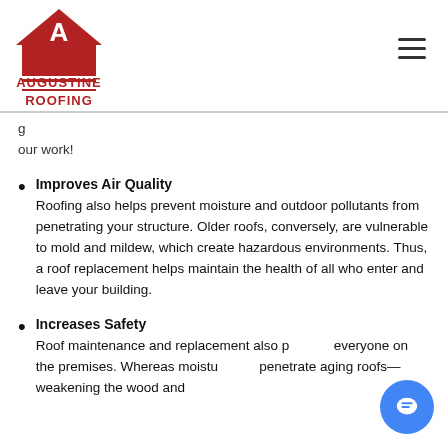[Figure (logo): Augustine Roofing logo with red house/roof shape and letter A, red text AUGUSTINE ROOFING below]
[link] our work!
Improves Air Quality
Roofing also helps prevent moisture and outdoor pollutants from penetrating your structure. Older roofs, conversely, are vulnerable to mold and mildew, which create hazardous environments. Thus, a roof replacement helps maintain the health of all who enter and leave your building.
Increases Safety
Roof maintenance and replacement also p... everyone on the premises. Whereas moistu... penetrate aging roofs—weakening the wood and ...